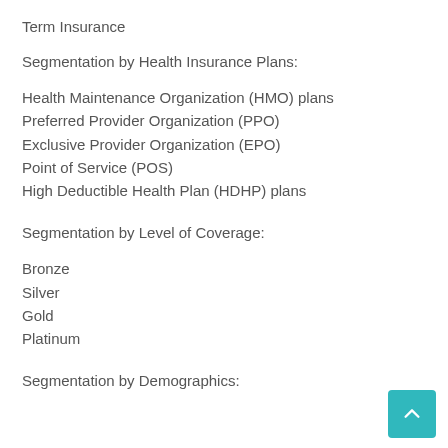Term Insurance
Segmentation by Health Insurance Plans:
Health Maintenance Organization (HMO) plans
Preferred Provider Organization (PPO)
Exclusive Provider Organization (EPO)
Point of Service (POS)
High Deductible Health Plan (HDHP) plans
Segmentation by Level of Coverage:
Bronze
Silver
Gold
Platinum
Segmentation by Demographics: